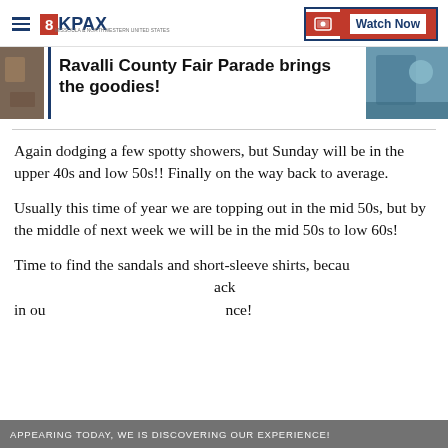8KPAX — Watch Now
Ravalli County Fair Parade brings the goodies!
Again dodging a few spotty showers, but Sunday will be in the upper 40s and low 50s!! Finally on the way back to average.
Usually this time of year we are topping out in the mid 50s, but by the middle of next week we will be in the mid 50s to low 60s!
Time to find the sandals and short-sleeve shirts, because [text continues/cut off] ack in our [text continues/cut off] nce!